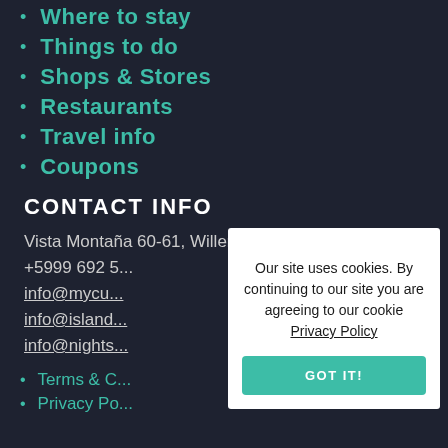Where to stay
Things to do
Shops & Stores
Restaurants
Travel info
Coupons
CONTACT INFO
Vista Montaña 60-61, Willemstad Curacao
+5999 692 5...
info@mycu...
info@island...
info@nights...
Terms & C...
Privacy Po...
Our site uses cookies. By continuing to our site you are agreeing to our cookie Privacy Policy
GOT IT!